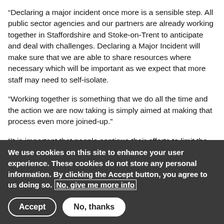“Declaring a major incident once more is a sensible step. All public sector agencies and our partners are already working together in Staffordshire and Stoke-on-Trent to anticipate and deal with challenges. Declaring a Major Incident will make sure that we are able to share resources where necessary which will be important as we expect that more staff may need to self-isolate.
“Working together is something that we do all the time and the action we are now taking is simply aimed at making that process even more joined-up.”
“It is important that people continue their efforts to limit the spread and impact of the virus; get vaccinated including a booster dose, work from home if you can, avoid crowded indoor public spaces, wear face coverings where required and use health and care services responsibly.”
We use cookies on this site to enhance your user experience. These cookies do not store any personal information. By clicking the Accept button, you agree to us doing so. No, give me more info
Accept   No, thanks